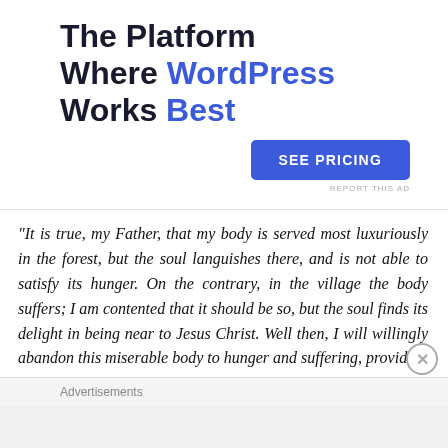The Platform Where WordPress Works Best
SEE PRICING
REPORT THIS AD
“It is true, my Father, that my body is served most luxuriously in the forest, but the soul languishes there, and is not able to satisfy its hunger. On the contrary, in the village the body suffers; I am contented that it should be so, but the soul finds its delight in being near to Jesus Christ. Well then, I will willingly abandon this miserable body to hunger and suffering, provided that...
Advertisements
REPORT THIS AD